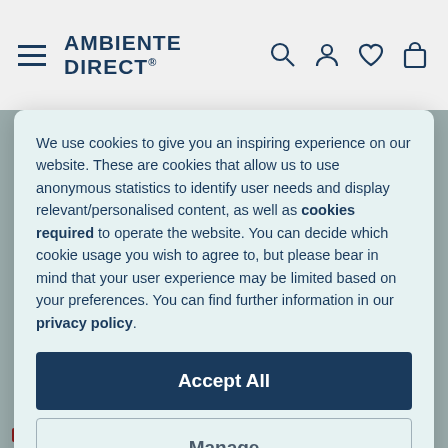AMBIENTE DIRECT®
We use cookies to give you an inspiring experience on our website. These are cookies that allow us to use anonymous statistics to identify user needs and display relevant/personalised content, as well as cookies required to operate the website. You can decide which cookie usage you wish to agree to, but please bear in mind that your user experience may be limited based on your preferences. You can find further information in our privacy policy.
Accept All
Manage